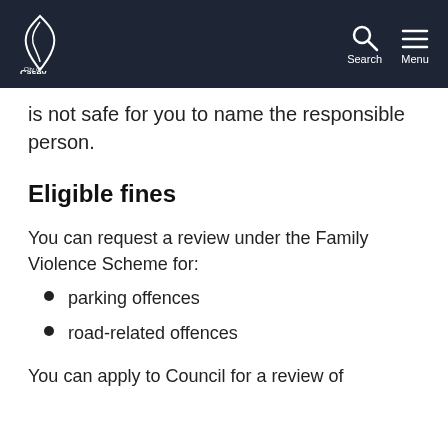City of Casey
is not safe for you to name the responsible person.
Eligible fines
You can request a review under the Family Violence Scheme for:
parking offences
road-related offences
You can apply to Council for a review of